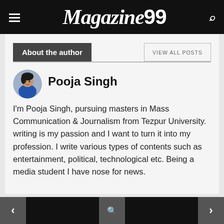Magazine99
About the author
Pooja Singh
I'm Pooja Singh, pursuing masters in Mass Communication & Journalism from Tezpur University. writing is my passion and I want to turn it into my profession. I write various types of contents such as entertainment, political, technological etc. Being a media student I have nose for news.